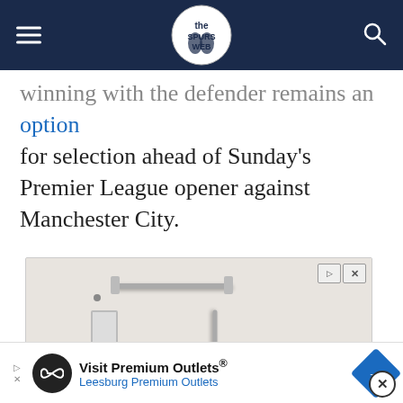The Spurs Web
...winning with the defender remains an option for selection ahead of Sunday's Premier League opener against Manchester City.
[Figure (photo): Advertisement showing a bathroom shower installation with grab bars, white walls, and a shower base. Ad for 'New Bathroom Shower' by West Shore Home.]
[Figure (other): Bottom banner advertisement for 'Visit Premium Outlets® Leesburg Premium Outlets' with infinity loop logo and navigation arrow icon.]